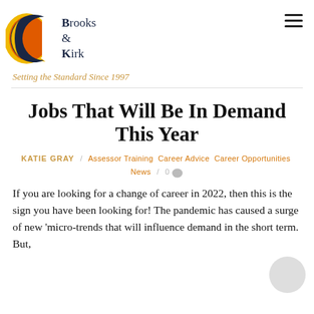[Figure (logo): Brooks & Kirk logo with crescent moon shape in dark navy, orange, and yellow layers, with text 'Brooks & Kirk' in serif font]
Setting the Standard Since 1997
Jobs That Will Be In Demand This Year
KATIE GRAY / Assessor Training Career Advice Career Opportunities News / 0
If you are looking for a change of career in 2022, then this is the sign you have been looking for! The pandemic has caused a surge of new 'micro-trends that will influence demand in the short term. But,